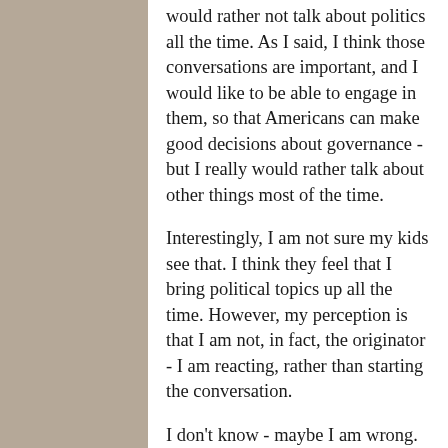would rather not talk about politics all the time. As I said, I think those conversations are important, and I would like to be able to engage in them, so that Americans can make good decisions about governance - but I really would rather talk about other things most of the time.
Interestingly, I am not sure my kids see that. I think they feel that I bring political topics up all the time. However, my perception is that I am not, in fact, the originator - I am reacting, rather than starting the conversation.
I don't know - maybe I am wrong. But I suggest you spend a moment reflecting on your recent conversations. Did you find yourself having to choose your words carefully during any of them?